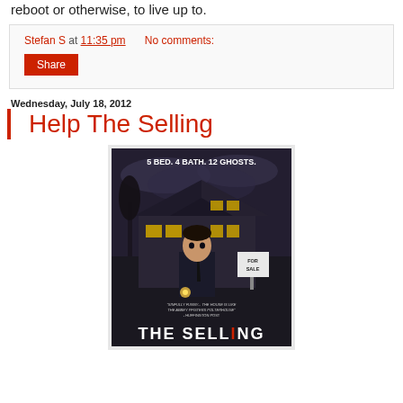reboot or otherwise, to live up to.
Stefan S at 11:35 pm   No comments:
[Figure (other): Share button (red background, white text)]
Wednesday, July 18, 2012
Help The Selling
[Figure (photo): Movie poster for 'The Selling' showing a young man in a suit holding a key, standing in front of a haunted-looking house at night. Text reads: 5 BED. 4 BATH. 12 GHOSTS. FOR SALE sign visible. Quote at bottom: 'SINFULLY FUNNY... THE HOUSE IS LIKE THE ABBEY PFISTERS POLTERHOUSE - HUFFINGTON POST'. Title at bottom: THE SELLING]